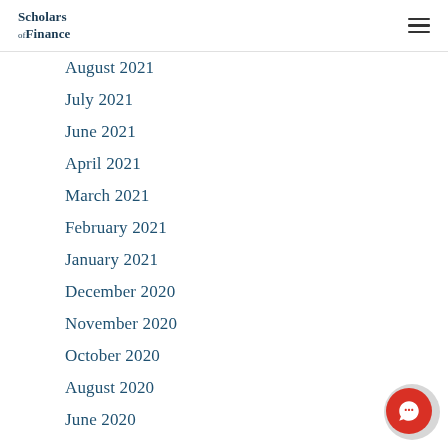Scholars of Finance
August 2021
July 2021
June 2021
April 2021
March 2021
February 2021
January 2021
December 2020
November 2020
October 2020
August 2020
June 2020